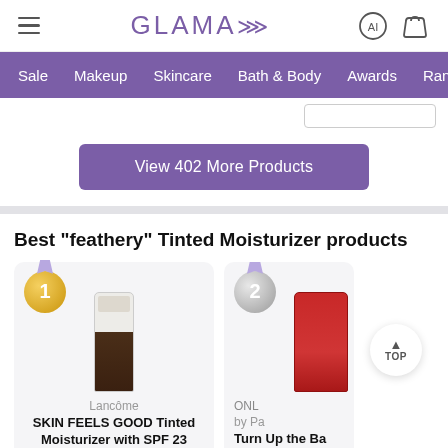GLAMAI
Sale  Makeup  Skincare  Bath & Body  Awards  Rankings
View 402 More Products
Best "feathery" Tinted Moisturizer products
1
Lancôme
SKIN FEELS GOOD Tinted Moisturizer with SPF 23
$36.00
2
ONLY By Pa...
Turn Up the Ba... Founda...
$33.0...